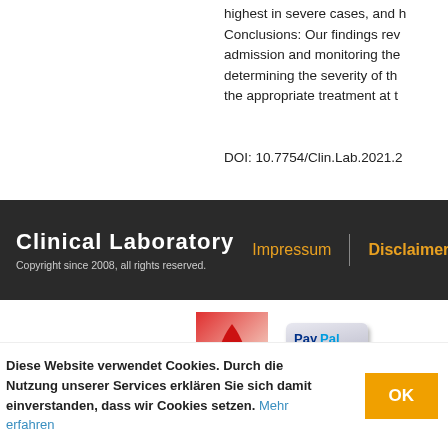highest in severe cases, and h... Conclusions: Our findings rev... admission and monitoring the... determining the severity of th... the appropriate treatment at t...
DOI: 10.7754/Clin.Lab.2021.2
Clinical Laboratory - Copyright since 2008, all rights reserved. | Impressum | Disclaimer
[Figure (logo): StKB logo with red drop and text]
[Figure (logo): PayPal logo button]
Diese Website verwendet Cookies. Durch die Nutzung unserer Services erklären Sie sich damit einverstanden, dass wir Cookies setzen. Mehr erfahren